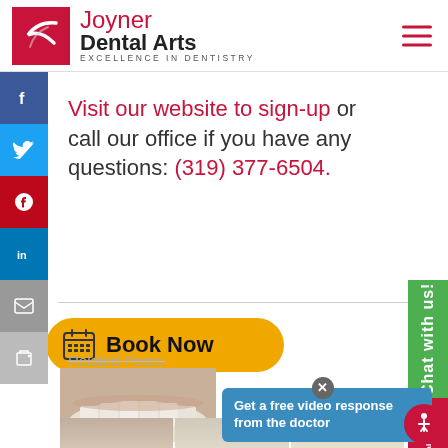Joyner Dental Arts — EXCELLENCE IN DENTISTRY
Visit our website to sign-up or call our office if you have any questions: (319) 377-6504.
Related Posts:
[Figure (screenshot): Book Now yellow pill button with calendar icon]
[Figure (screenshot): Blue popup overlay: Get a free video response from the doctor]
[Figure (photo): Before dental photo showing teeth close-up]
[Figure (photo): Three small dental before/after photos at bottom]